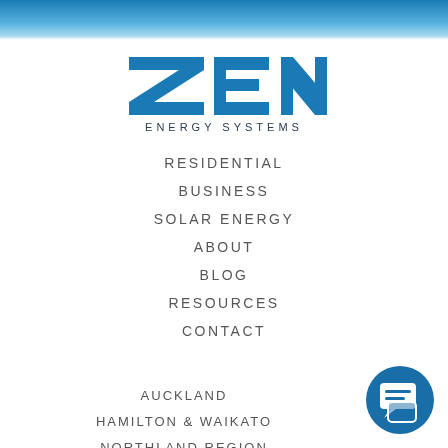[Figure (logo): ZEN Energy Systems logo with blue bold ZEN letters and 'ENERGY SYSTEMS' text below]
RESIDENTIAL
BUSINESS
SOLAR ENERGY
ABOUT
BLOG
RESOURCES
CONTACT
AUCKLAND
HAMILTON & WAIKATO
NORTHLAND REGION
[Figure (illustration): Blue circular chat/message icon in bottom right corner]